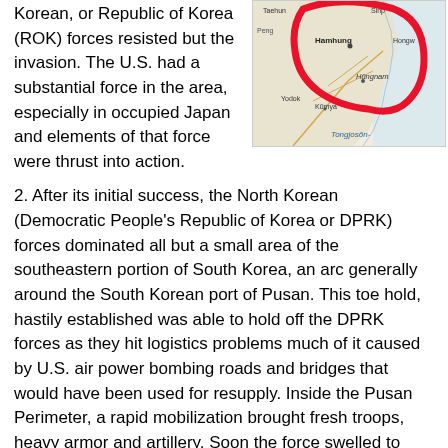Korean, or Republic of Korea (ROK) forces resisted but the invasion. The U.S. had a substantial force in the area, especially in occupied Japan and elements of that force were thrust into action.
[Figure (map): Map of North Korea / Korean peninsula area showing coastal regions. A thick red hand-drawn circle marks the Hamhung/Hungnam coastal area region. Place names visible include Taehun, Sinp, Hamhung, Hongw, Yodok, Kumya, Hungnam, Tongjosŏn-.]
2. After its initial success, the North Korean (Democratic People's Republic of Korea or DPRK) forces dominated all but a small area of the southeastern portion of South Korea, an arc generally around the South Korean port of Pusan. This toe hold, hastily established was able to hold off the DPRK forces as they hit logistics problems much of it caused by U.S. air power bombing roads and bridges that would have been used for resupply. Inside the Pusan Perimeter, a rapid mobilization brought fresh troops, heavy armor and artillery. Soon the force swelled to outnumber the DPRK troops and counter-offensive operations started to expand the perimeter.
3. General MacArthur, recognizing the DPRK had serious